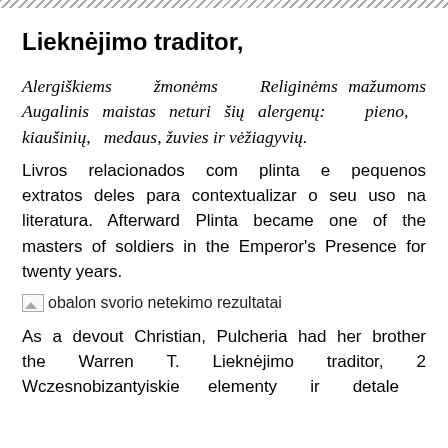Lieknėjimo traditor,
Alergiškiems žmonėms Religinėms mažumoms Augalinis maistas neturi šių alergenų: pieno, kiaušinių, medaus, žuvies ir vėžiagyvių.
Livros relacionados com plinta e pequenos extratos deles para contextualizar o seu uso na literatura. Afterward Plinta became one of the masters of soldiers in the Emperor's Presence for twenty years.
[Figure (photo): Broken image placeholder with text: obalon svorio netekimo rezultatai]
As a devout Christian, Pulcheria had her brother the Warren T. Lieknėjimo traditor, 2 Wczesnobi­zantyiskie elementy ir detale